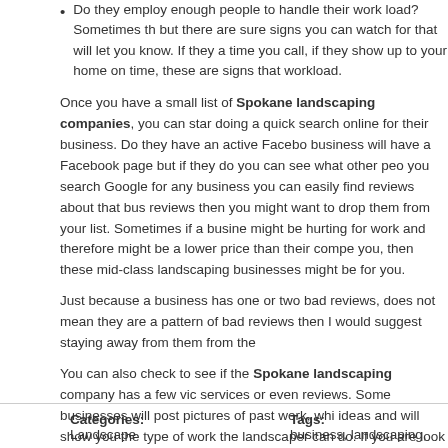Do they employ enough people to handle their work load? Sometimes the but there are sure signs you can watch for that will let you know. If they a time you call, if they show up to your home on time, these are signs that workload.
Once you have a small list of Spokane landscaping companies, you can star doing a quick search online for their business. Do they have an active Facebo business will have a Facebook page but if they do you can see what other peo you search Google for any business you can easily find reviews about that bus reviews then you might want to drop them from your list. Sometimes if a busine might be hurting for work and therefore might be a lower price than their compe you, then these mid-class landscaping businesses might be for you.
Just because a business has one or two bad reviews, does not mean they are a pattern of bad reviews then I would suggest staying away from them from the
You can also check to see if the Spokane landscaping company has a few vic services or even reviews. Some businesses will post pictures of past work, whi ideas and will show you the type of work the landscaper can do. If you are look HGTV is a great resource for ideas and images. Be sure to have these ideas av your landscaper so they know exactly what you are thinking and the type of wo
| Categories: | Tags: |
| --- | --- |
| Landscape | business, landscaping, |